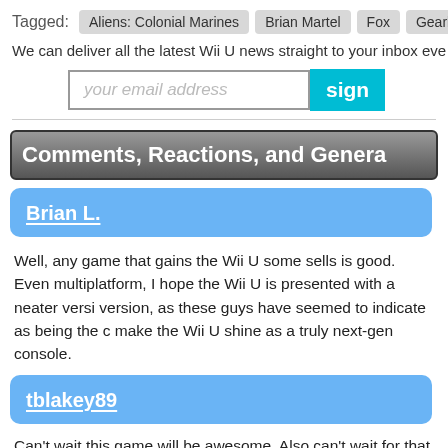Tagged: Aliens: Colonial Marines  Brian Martel  Fox  Gearbox S…
We can deliver all the latest Wii U news straight to your inbox eve…
[Figure (screenshot): Email subscription form with input field reading 'your email address' and a cyan 'sign' button]
Comments, Reactions, and Genera…
Brian L.
Well, any game that gains the Wii U some sells is good. Even multiplatform, I hope the Wii U is presented with a neater version, as these guys have seemed to indicate as being the case, make the Wii U shine as a truly next-gen console.
tblakey89
Can't wait this game will be awesome. Also can't wait for that…